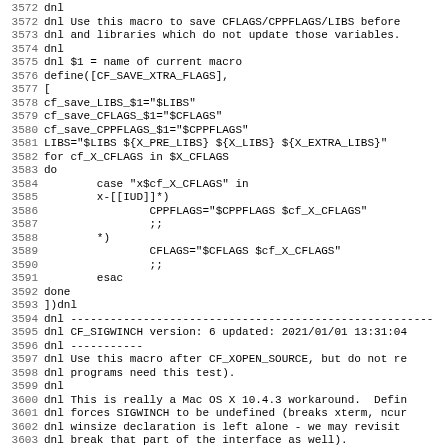Source code listing lines 3572-3603, showing shell macro definitions in m4/autoconf format including CF_SAVE_XTRA_FLAGS and CF_SIGWINCH macros with comments and shell script logic.